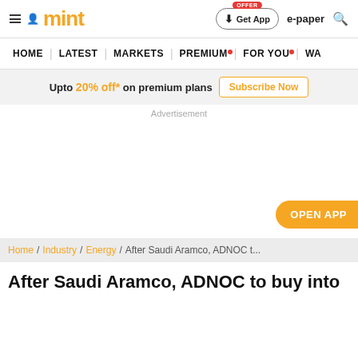mint | Get App | e-paper
HOME | LATEST | MARKETS | PREMIUM | FOR YOU | WA
Upto 20% off* on premium plans Subscribe Now
Advertisement
OPEN APP
Home / Industry / Energy / After Saudi Aramco, ADNOC t...
After Saudi Aramco, ADNOC to buy into